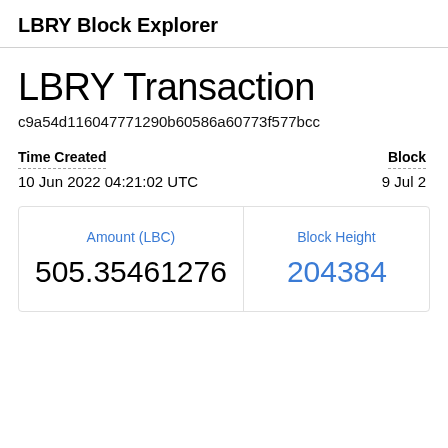LBRY Block Explorer
LBRY Transaction
c9a54d116047771290b60586a60773f577bcc
Time Created
10 Jun 2022 04:21:02 UTC
Block
9 Jul 2
| Amount (LBC) | Block Height |
| --- | --- |
| 505.35461276 | 20438... |